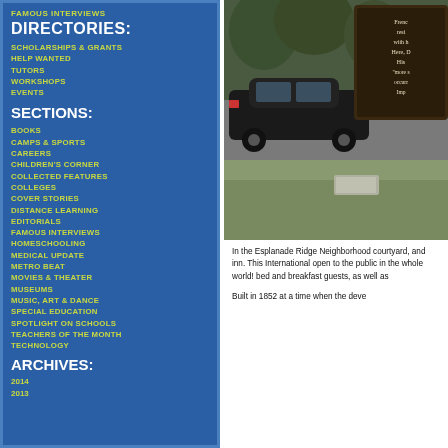FAMOUS INTERVIEWS
DIRECTORIES:
SCHOLARSHIPS & GRANTS
HELP WANTED
TUTORS
WORKSHOPS
EVENTS
SECTIONS:
BOOKS
CAMPS & SPORTS
CAREERS
CHILDREN'S CORNER
COLLECTED FEATURES
COLLEGES
COVER STORIES
DISTANCE LEARNING
EDITORIALS
FAMOUS INTERVIEWS
HOMESCHOOLING
MEDICAL UPDATE
METRO BEAT
MOVIES & THEATER
MUSEUMS
MUSIC, ART & DANCE
SPECIAL EDUCATION
SPOTLIGHT ON SCHOOLS
TEACHERS OF THE MONTH
TECHNOLOGY
ARCHIVES:
2014
2013
[Figure (photo): Street scene with a dark car passing by historical marker sign in the Esplanade Ridge Neighborhood]
In the Esplanade Ridge Neighborhood courtyard, and inn. This International open to the public in the whole world! bed and breakfast guests, as well as
Built in 1852 at a time when the deve